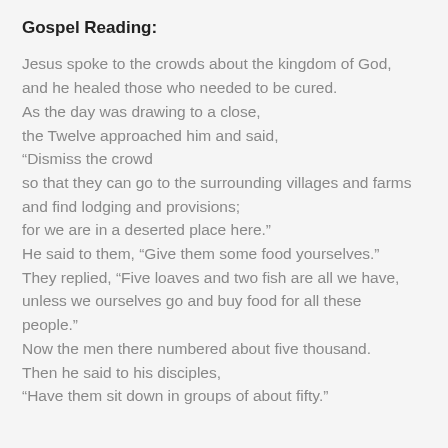Gospel Reading:
Jesus spoke to the crowds about the kingdom of God,
and he healed those who needed to be cured.
As the day was drawing to a close,
the Twelve approached him and said,
“Dismiss the crowd
so that they can go to the surrounding villages and farms
and find lodging and provisions;
for we are in a deserted place here.”
He said to them, “Give them some food yourselves.”
They replied, “Five loaves and two fish are all we have,
unless we ourselves go and buy food for all these
people.”
Now the men there numbered about five thousand.
Then he said to his disciples,
“Have them sit down in groups of about fifty.”